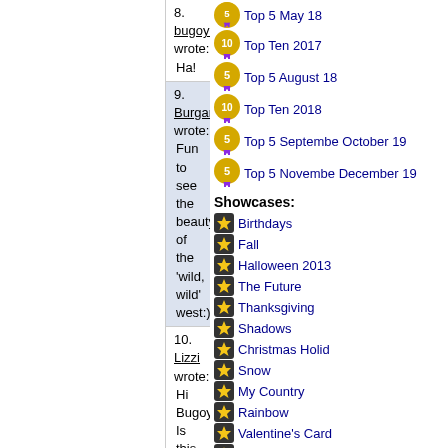8. bugoy1 wrote: Ha!
9. Burgandy wrote: Fun to see the beauty of the 'wild, wild' west:)
10. Lizzi wrote: Hi Bugoy. Is this anywhere nesr Bryce Canyon? It's lovely. You are now in charge of Challenge CXX. Congratulations!
11. bugoy1 wrote: Yes, Lizzi. It is part of Southern Utah. And Thanks. I will post the new challenge soon.
12. mum23 wrote: Beautifully drawn!
13. okeanos wrote: Beauty Wild West !!!
14. priya41 wrote: interesting pic! and thankyou for all your lovely comments! We'll be missing you
15. caa649 wrote: fantastic!
16. KJLavigne wrote: New Mexico?
17. bugoy1 wrote: Utah.
Top 5 May 18
Top Ten 2017
Top 5 August 18
Top Ten 2018
Top 5 September October 19
Top 5 November December 19
Showcases:
Birthdays
Fall
Halloween 2013
The Future
Thanksgiving
Shadows
Christmas Holidays
Snow
My Country
Rainbow
Valentine's Cards
Names
Squares
Halloween 2014
Winter
Thanksgiving